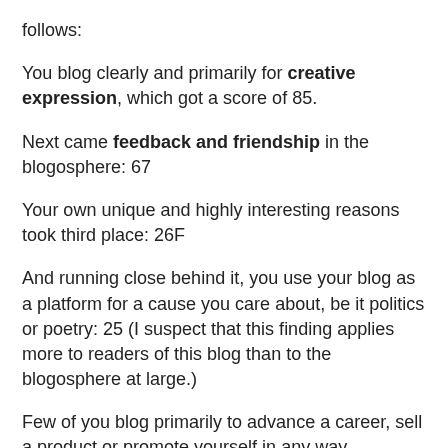follows:
You blog clearly and primarily for creative expression, which got a score of 85.
Next came feedback and friendship in the blogosphere: 67
Your own unique and highly interesting reasons took third place: 26F
And running close behind it, you use your blog as a platform for a cause you care about, be it politics or poetry: 25 (I suspect that this finding applies more to readers of this blog than to the blogosphere at large.)
Few of you blog primarily to advance a career, sell a product or promote yourself in any way. However, you recognize that it could be a powerful tool at some point.
All of the comments were thoughtful and worth reading, including some that ventured into the "other" category. Kerstin says that for her blogging is cheap therapy, and